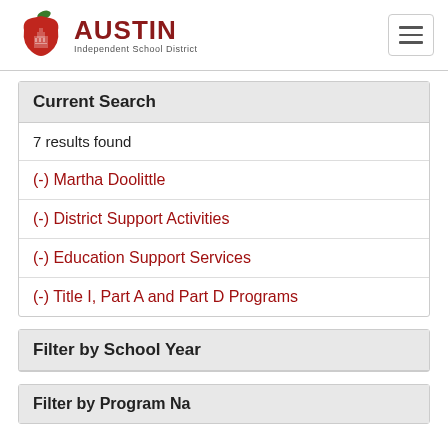AUSTIN Independent School District
Current Search
7 results found
(-) Martha Doolittle
(-) District Support Activities
(-) Education Support Services
(-) Title I, Part A and Part D Programs
Filter by School Year
Filter by Program Na...